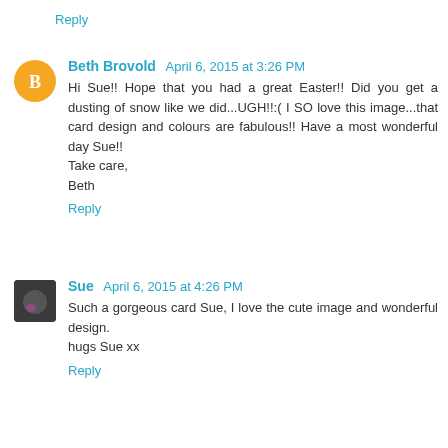Reply
Beth Brovold  April 6, 2015 at 3:26 PM
Hi Sue!! Hope that you had a great Easter!! Did you get a dusting of snow like we did...UGH!!:( I SO love this image...that card design and colours are fabulous!! Have a most wonderful day Sue!!
Take care,
Beth
Reply
Sue  April 6, 2015 at 4:26 PM
Such a gorgeous card Sue, I love the cute image and wonderful design.
hugs Sue xx
Reply